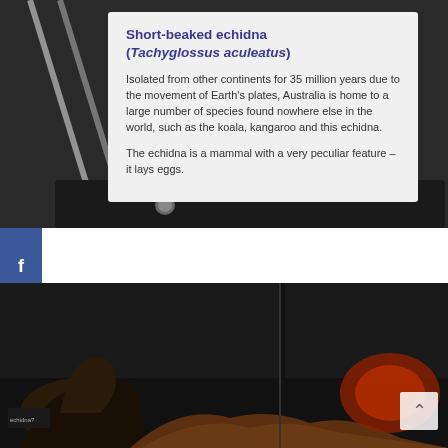[Figure (photo): Museum exhibit photo showing a white informational sign panel on a dark display stand with diagonal metal rods in the top-left corner. The sign contains text about the Short-beaked echidna.]
Short-beaked echidna (Tachyglossus aculeatus)
Isolated from other continents for 35 million years due to the movement of Earth's plates, Australia is home to a large number of species found nowhere else in the world, such as the koala, kangaroo and this echidna.
The echidna is a mammal with a very peculiar feature – it lays eggs.
[Figure (photo): Museum exhibit photo showing dinosaur or prehistoric animal skeletal/sculptural models in a dark display room with orange/red accent lighting on the right side.]